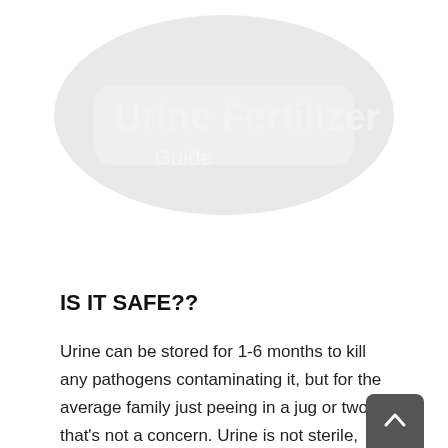[Figure (illustration): Faded/watermarked background illustration, appears to show text or logo, very low opacity, in the upper portion of the page.]
IS IT SAFE??
Urine can be stored for 1-6 months to kill any pathogens contaminating it, but for the average family just peeing in a jug or two, that's not a concern. Urine is not sterile, containing some bacteria, but unless it's contaminated with feces, it is unlikely to contain any pathogens. Don't collect urine if you have an infection or you are taking prescription drugs. No crops should be fertilized with anything for at least a month before harvest.